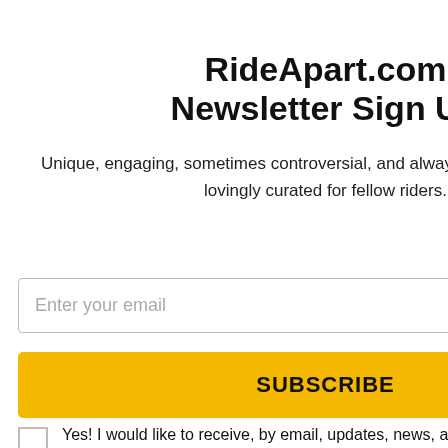RideApart.com Newsletter Sign Up
Unique, engaging, sometimes controversial, and always entertaining stories lovingly curated for fellow riders.
Enter your email
SUBSCRIBE
Yes! I would like to receive, by email, updates, news, and special offers from RideApart, a Motorsport Network company.
[Figure (photo): Advertisement showing a motocross rider on a sandy hill against a blue sky background, with a 'quote' label at the bottom]
tter than nothing; n flip-flops, just